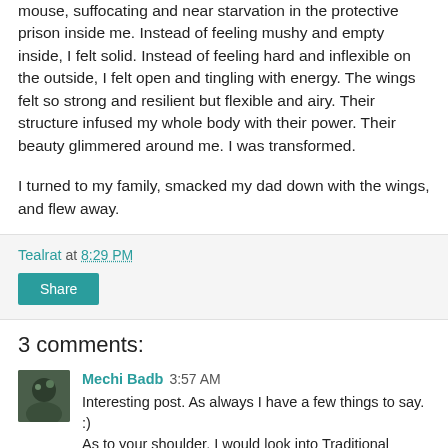mouse, suffocating and near starvation in the protective prison inside me. Instead of feeling mushy and empty inside, I felt solid. Instead of feeling hard and inflexible on the outside, I felt open and tingling with energy. The wings felt so strong and resilient but flexible and airy. Their structure infused my whole body with their power. Their beauty glimmered around me. I was transformed.
I turned to my family, smacked my dad down with the wings, and flew away.
Tealrat at 8:29 PM
Share
3 comments:
Mechi Badb 3:57 AM
Interesting post. As always I have a few things to say. :) As to your shoulder, I would look into Traditional Chinese Medicine. It would be better than having an operation.